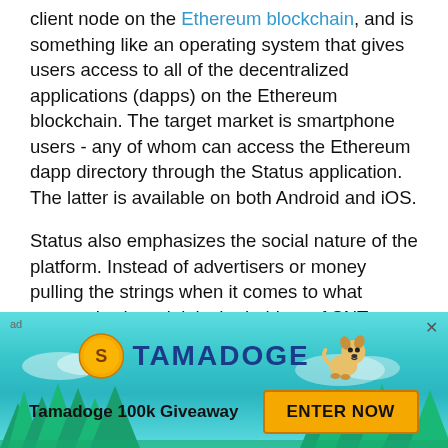client node on the Ethereum blockchain, and is something like an operating system that gives users access to all of the decentralized applications (dapps) on the Ethereum blockchain. The target market is smartphone users - any of whom can access the Ethereum dapp directory through the Status application. The latter is available on both Android and iOS.
Status also emphasizes the social nature of the platform. Instead of advertisers or money pulling the strings when it comes to what content is shared, it is the holders of SNT tokens who become the major stakeholders in the network and decide how the network is governed.
[Figure (infographic): Tamadoge 100k Giveaway advertisement banner with teal background, trees silhouette, coin logo, dog character, 'TAMADOGE' brand text, and 'ENTER NOW' yellow button.]